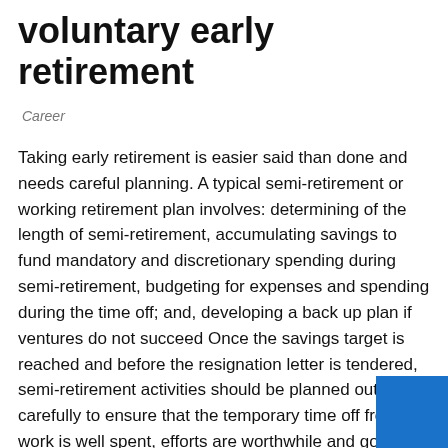voluntary early retirement
Career
Taking early retirement is easier said than done and needs careful planning. A typical semi-retirement or working retirement plan involves: determining of the length of semi-retirement, accumulating savings to fund mandatory and discretionary spending during semi-retirement, budgeting for expenses and spending during the time off; and, developing a back up plan if ventures do not succeed Once the savings target is reached and before the resignation letter is tendered, semi-retirement activities should be planned out carefully to ensure that the temporary time off from work is well spent, efforts are worthwhile and goals are achieved. Spending Time With Family The best time spent by most people is probably with their parents, spouses, children and pets. Althoug the time ...